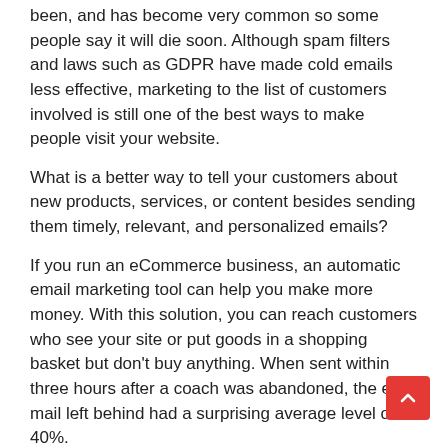been, and has become very common so some people say it will die soon. Although spam filters and laws such as GDPR have made cold emails less effective, marketing to the list of customers involved is still one of the best ways to make people visit your website.
What is a better way to tell your customers about new products, services, or content besides sending them timely, relevant, and personalized emails?
If you run an eCommerce business, an automatic email marketing tool can help you make more money. With this solution, you can reach customers who see your site or put goods in a shopping basket but don't buy anything. When sent within three hours after a coach was abandoned, the e-mail left behind had a surprising average level of 40%.
6. Pay-per-click ads and ads on social media
Organic search can give your business better investment (ROI) in the long run, but the paid search can give you faster re... Google Adwords pay-per-click (PPC) campaign Google Adwords can bring more traffic.